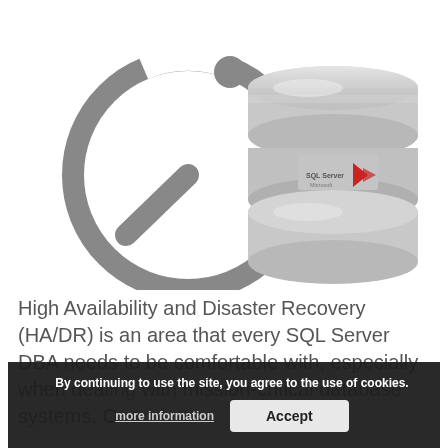[Figure (illustration): Two icons side by side: on the left, a grey circular timer/stopwatch icon; on the right, a Microsoft SQL Server database stack icon (silver/grey cylindrical stack with SQL Server logo).]
High Availability and Disaster Recovery (HA/DR) is an area that every SQL Server DBA needs to be comfortable with, especially when dealing with mission-critical database systems. One
By continuing to use the site, you agree to the use of cookies. more information  Accept